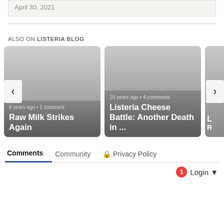April 30, 2021
ALSO ON LISTERIA BLOG
[Figure (screenshot): Card: 6 years ago • 1 comment — Raw Milk Strikes Again]
[Figure (screenshot): Card: 10 years ago • 4 comments — Listeria Cheese Battle: Another Death in ...]
Comments  Community  🔒 Privacy Policy
1  Login